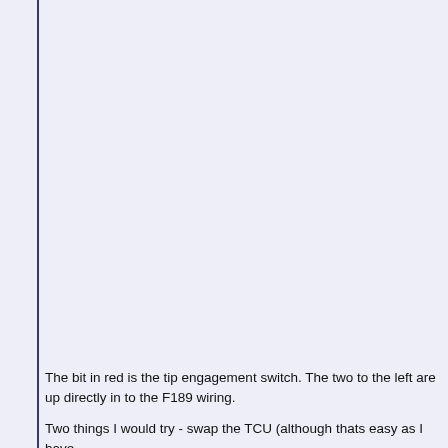The bit in red is the tip engagement switch. The two to the left are up directly in to the F189 wiring.
Two things I would try - swap the TCU (although thats easy as I have